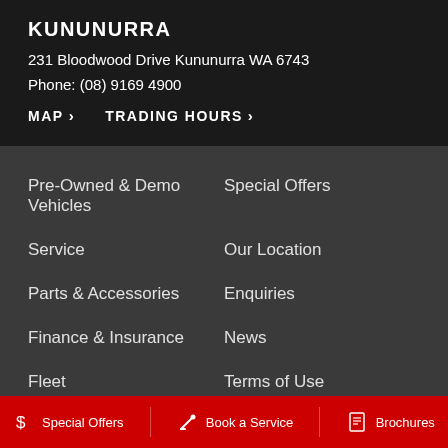KUNUNURRA
231 Bloodwood Drive Kununurra WA 6743
Phone: (08) 9169 4900
MAP > TRADING HOURS >
Pre-Owned & Demo Vehicles
Special Offers
Service
Our Location
Parts & Accessories
Enquiries
Finance & Insurance
News
Fleet
Terms of Use
Privacy Policy
About Us
Careers
Special Offers | Book a Service | Brochures